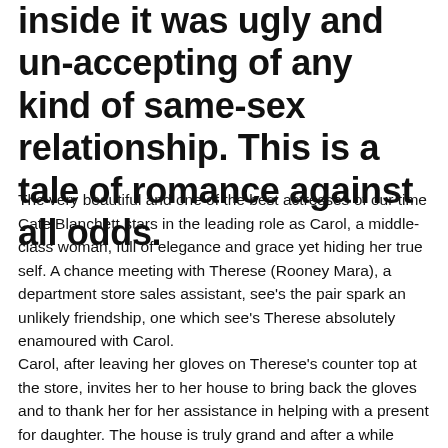inside it was ugly and un-accepting of any kind of same-sex relationship. This is a tale of romance against all odds.
The very beautiful and one of the best actresses of our time Cate Blanchett stars in the leading role as Carol, a middle-class woman, full of elegance and grace yet hiding her true self. A chance meeting with Therese (Rooney Mara), a department store sales assistant, see's the pair spark an unlikely friendship, one which see's Therese absolutely enamoured with Carol.
Carol, after leaving her gloves on Therese's counter top at the store, invites her to her house to bring back the gloves and to thank her for her assistance in helping with a present for daughter. The house is truly grand and after a while Carol seems extremely comfortable with Therese, that is until her husband arrives home and the pretence